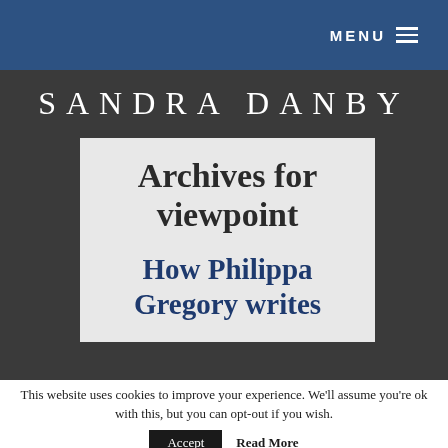MENU ≡
SANDRA DANBY
Archives for viewpoint
How Philippa Gregory writes
This website uses cookies to improve your experience. We'll assume you're ok with this, but you can opt-out if you wish.
Accept   Read More